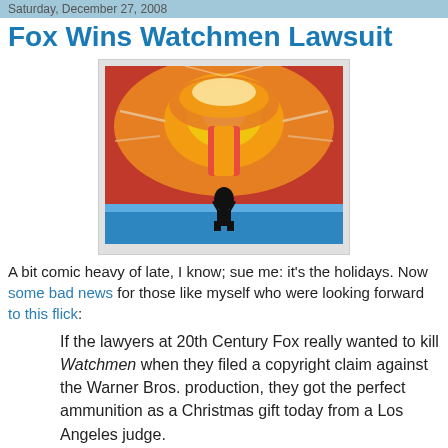Saturday, December 27, 2008
Fox Wins Watchmen Lawsuit
[Figure (illustration): Comic book style illustration of a silhouette of a person standing before a massive nuclear explosion mushroom cloud with orange, red and yellow colors and a blue ground.]
A bit comic heavy of late, I know; sue me: it's the holidays. Now some bad news for those like myself who were looking forward to this flick:
If the lawyers at 20th Century Fox really wanted to kill Watchmen when they filed a copyright claim against the Warner Bros. production, they got the perfect ammunition as a Christmas gift today from a Los Angeles judge.
Deadline Hollywood Daily is reporting that Judge Gary A. Feess will rule soon in favor of Fox...